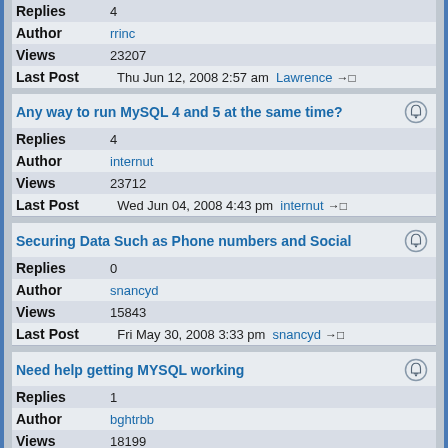Replies 4
Author rrinc
Views 23207
Last Post Thu Jun 12, 2008 2:57 am Lawrence
Any way to run MySQL 4 and 5 at the same time?
Replies 4
Author internut
Views 23712
Last Post Wed Jun 04, 2008 4:43 pm internut
Securing Data Such as Phone numbers and Social
Replies 0
Author snancyd
Views 15843
Last Post Fri May 30, 2008 3:33 pm snancyd
Need help getting MYSQL working
Replies 1
Author bghtrbb
Views 18199
Last Post Tue May 27, 2008 4:16 pm aprelium